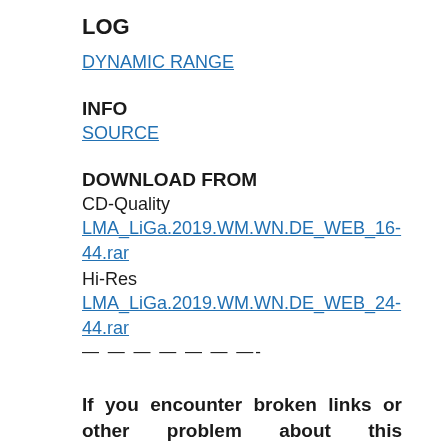LOG
DYNAMIC RANGE
INFO
SOURCE
DOWNLOAD FROM
CD-Quality
LMA_LiGa.2019.WM.WN.DE_WEB_16-44.rar
Hi-Res
LMA_LiGa.2019.WM.WN.DE_WEB_24-44.rar
— — — — — — —-
If you encounter broken links or other problem about this publication, please let